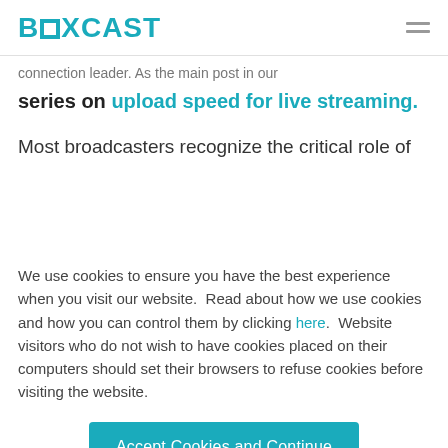BOXCAST
connection leader. As the main post in our series on upload speed for live streaming.
Most broadcasters recognize the critical role of
We use cookies to ensure you have the best experience when you visit our website.  Read about how we use cookies and how you can control them by clicking here.  Website visitors who do not wish to have cookies placed on their computers should set their browsers to refuse cookies before visiting the website.
Accept Cookies and Continue